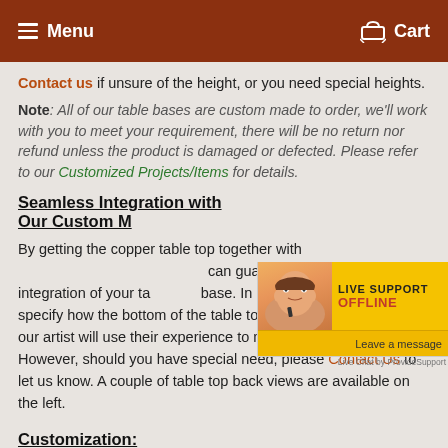Menu  Cart
Contact us if unsure of the height, or you need special heights.
Note: All of our table bases are custom made to order, we'll work with you to meet your requirement, there will be no return nor refund unless the product is damaged or defected. Please refer to our Customized Projects/Items for details.
Seamless Integration with Our Custom M...
By getting the copper table top together with... can guarantee seamless integration of your table top with... base. In general, you don't have to specify how the bottom of the table top should be constructed, our artist will use their experience to make the best fit for you. However, should you have special need, please Contact Us to let us know. A couple of table top back views are available on the left.
Customization:
We do customization! if you have any custom size you want or you